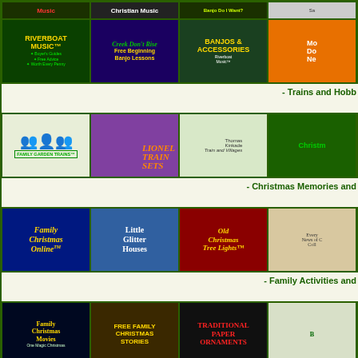[Figure (screenshot): Website screenshot showing music and hobby banners - top partial row with music, Christian Music, Banjo Do I Want, partial banner]
[Figure (screenshot): Row of banners: Riverboat Music TM (Buyer's Guides, Free Advice, Worth Every Penny), Creek Don't Rise Free Beginning Banjo Lessons, Banjos & Accessories Riverboat Music TM, partial orange banner]
- Trains and Hobb
[Figure (screenshot): Row of banners: Family Garden Trains (silhouettes), Lionel Train Sets (purple bg), Thomas Kinkade Train and Villages, Christmas partial banner]
- Christmas Memories and
[Figure (screenshot): Row of banners: Family Christmas Online TM, Little Glitter Houses, Old Christmas Tree Lights TM, partial beige banner]
- Family Activities and
[Figure (screenshot): Row of banners: Family Christmas Movies (One Magic Christmas), Free Family Christmas Stories, Traditional Paper Ornaments, partial snowy scene banner]